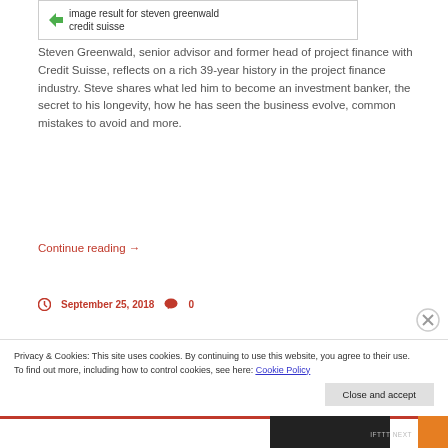[Figure (screenshot): Image result box showing 'image result for steven greenwald credit suisse' with a small green arrow icon]
Steven Greenwald, senior advisor and former head of project finance with Credit Suisse, reflects on a rich 39-year history in the project finance industry. Steve shares what led him to become an investment banker, the secret to his longevity, how he has seen the business evolve, common mistakes to avoid and more.
Continue reading →
September 25, 2018   0
Privacy & Cookies: This site uses cookies. By continuing to use this website, you agree to their use.
To find out more, including how to control cookies, see here: Cookie Policy